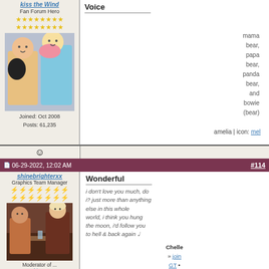kiss the Wind
Fan Forum Hero
[Figure (photo): User avatar photo showing people in costume/pajamas]
Joined: Oct 2008
Posts: 61,235
Voice
mama bear, papa bear, panda bear, and bowie (bear)
amelia | icon: mel
☺ (emoji icon)
06-29-2022, 12:02 AM  #114
shinebrighterxx
Graphics Team Manager
[Figure (photo): User avatar photo showing two people at a table in warm lighting]
Moderator of ...
Wonderful
i don't love you much, do i? just more than anything else in this whole world, i think you hung the moon, i'd follow you to hell & back again ♩
Chelle
» join GT • my art • FBI • L&O